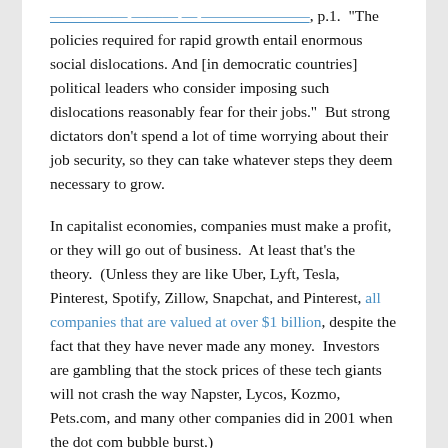[hyperlink text cut off at top], p.1.  "The policies required for rapid growth entail enormous social dislocations. And [in democratic countries] political leaders who consider imposing such dislocations reasonably fear for their jobs."  But strong dictators don't spend a lot of time worrying about their job security, so they can take whatever steps they deem necessary to grow.
In capitalist economies, companies must make a profit, or they will go out of business.  At least that's the theory.  (Unless they are like Uber, Lyft, Tesla, Pinterest, Spotify, Zillow, Snapchat, and Pinterest, all companies that are valued at over $1 billion, despite the fact that they have never made any money.  Investors are gambling that the stock prices of these tech giants will not crash the way Napster, Lycos, Kozmo, Pets.com, and many other companies did in 2001 when the dot com bubble burst.)
In China, a significant portion of the economy is